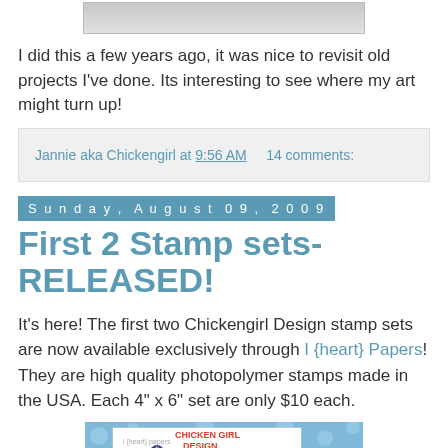[Figure (photo): Top portion of a product/craft image, partially visible at top of page]
I did this a few years ago, it was nice to revisit old projects I've done. Its interesting to see where my art might turn up!
Jannie aka Chickengirl at 9:56 AM    14 comments:
Sunday, August 09, 2009
First 2 Stamp sets-RELEASED!
It's here! The first two Chickengirl Design stamp sets are now available exclusively through I {heart} Papers! They are high quality photopolymer stamps made in the USA. Each 4" x 6" set are only $10 each.
[Figure (photo): Photo of Chicken Girl Design stamp set packaging on blue polka dot background, showing stamp designs including an owl and other shapes, with 'Hello Friend!' text visible]